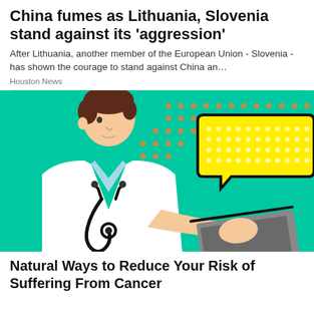China fumes as Lithuania, Slovenia stand against its 'aggression'
After Lithuania, another member of the European Union - Slovenia - has shown the courage to stand against China an…
Houston News
[Figure (illustration): Illustration of a doctor in a white coat with a stethoscope, sitting at a laptop on a teal/green background with an orange dot pattern. A large yellow speech bubble is visible to the right of the doctor.]
Natural Ways to Reduce Your Risk of Suffering From Cancer